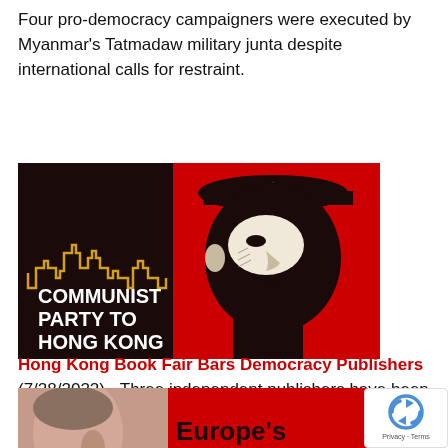Four pro-democracy campaigners were executed by Myanmar's Tatmadaw military junta despite international calls for restraint.
[Figure (illustration): Stylized propaganda-style illustration of Mao Zedong profile in black on red background, with text 'COMMUNIST PARTY TO HONG KONG' in bold white on dark/black left panel, and a golden cityscape silhouette outline]
Hong Kong Book Fair Bars Democracy Publishers (7/28/2022) - Three independent publishers have been barred from the annual book fair in Hong Kong, because…
[Figure (illustration): Illustration of a man's face in reddish tones on left, and bold black text 'Europe's Last' on red background on right]
[Figure (other): reCAPTCHA Privacy - Terms badge in bottom right corner]